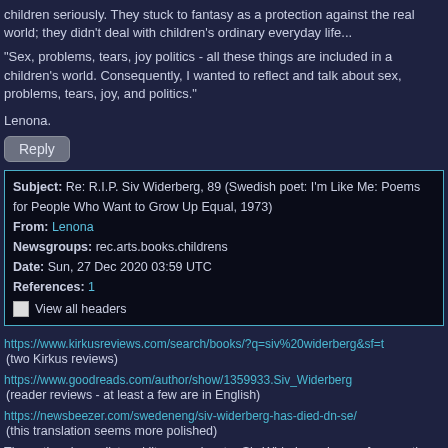children seriously. They stuck to fantasy as a protection against the real world; they didn't deal with children's ordinary everyday life...
"Sex, problems, tears, joy politics - all these things are included in a children's world. Consequently, I wanted to reflect and talk about sex, problems, tears, joy, and politics."
Lenona.
Reply
| Subject: | Re: R.I.P. Siv Widerberg, 89 (Swedish poet: I'm Like Me: Poems for People Who Want to Grow Up Equal, 1973) |
| From: | Lenona |
| Newsgroups: | rec.arts.books.childrens |
| Date: | Sun, 27 Dec 2020 03:59 UTC |
| References: | 1 |
|  | View all headers |
https://www.kirkusreviews.com/search/books/?q=siv%20widerberg&sf=t
(two Kirkus reviews)
https://www.goodreads.com/author/show/1359933.Siv_Widerberg
(reader reviews - at least a few are in English)
https://newsbeezer.com/swedeneng/siv-widerberg-has-died-dn-se/
(this translation seems more polished)
The author, journalist and literary educator Siv Widerberg, known for countless anthologies, collections of poems and picture books, died at the age of 89. She made...